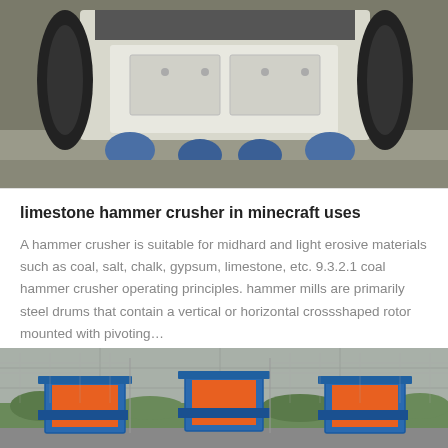[Figure (photo): Industrial hammer crusher machine, white/cream colored, sitting on blue rubber mounts on a concrete floor inside a factory or warehouse]
limestone hammer crusher in minecraft uses
A hammer crusher is suitable for midhard and light erosive materials such as coal, salt, chalk, gypsum, limestone, etc. 9.3.2.1 coal hammer crusher operating principles. hammer mills are primarily steel drums that contain a vertical or horizontal crossshaped rotor mounted with pivoting…
GET PRICE
[Figure (photo): Industrial equipment yard showing orange-framed conveyor or feeder hoppers with blue structural frames, surrounded by green vegetation and concrete walls]